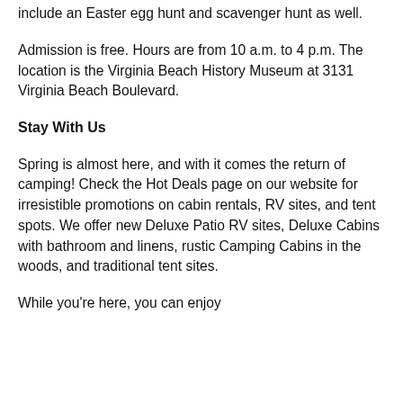include an Easter egg hunt and scavenger hunt as well.
Admission is free. Hours are from 10 a.m. to 4 p.m. The location is the Virginia Beach History Museum at 3131 Virginia Beach Boulevard.
Stay With Us
Spring is almost here, and with it comes the return of camping! Check the Hot Deals page on our website for irresistible promotions on cabin rentals, RV sites, and tent spots. We offer new Deluxe Patio RV sites, Deluxe Cabins with bathroom and linens, rustic Camping Cabins in the woods, and traditional tent sites.
While you're here, you can enjoy